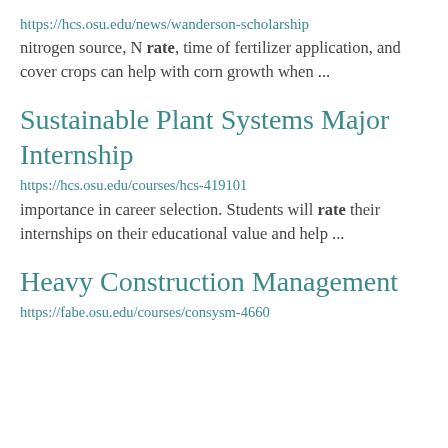https://hcs.osu.edu/news/wanderson-scholarship
nitrogen source, N rate, time of fertilizer application, and cover crops can help with corn growth when ...
Sustainable Plant Systems Major Internship
https://hcs.osu.edu/courses/hcs-419101
importance in career selection. Students will rate their internships on their educational value and help ...
Heavy Construction Management
https://fabe.osu.edu/courses/consysm-4660